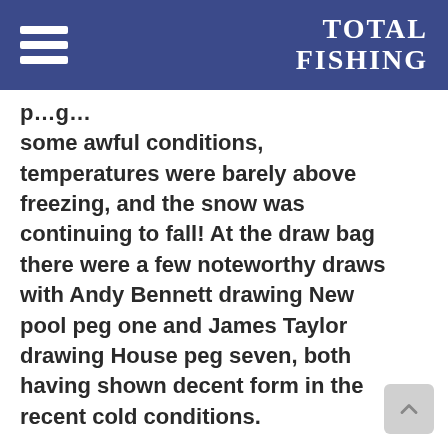TOTAL FISHING
…p…g… some awful conditions, temperatures were barely above freezing, and the snow was continuing to fall! At the draw bag there were a few noteworthy draws with Andy Bennett drawing New pool peg one and James Taylor drawing House peg seven, both having shown decent form in the recent cold conditions.
Contrary to many people's expectations it was Extension pool